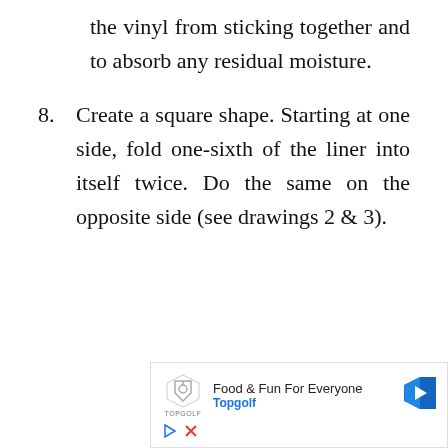the vinyl from sticking together and to absorb any residual moisture.
8. Create a square shape. Starting at one side, fold one-sixth of the liner into itself twice. Do the same on the opposite side (see drawings 2 & 3).
9. Once you have created two opposing folded sides, simply fold one over the other like closing a book (see drawings 4
[Figure (infographic): Advertisement banner for Topgolf showing logo, 'Food & Fun For Everyone' text, blue arrow button, and ad controls (play and close icons).]